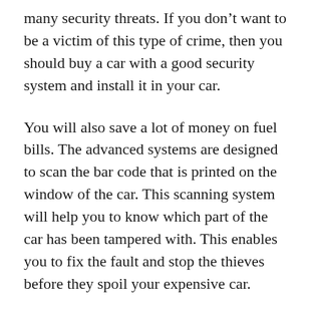many security threats. If you don't want to be a victim of this type of crime, then you should buy a car with a good security system and install it in your car.
You will also save a lot of money on fuel bills. The advanced systems are designed to scan the bar code that is printed on the window of the car. This scanning system will help you to know which part of the car has been tampered with. This enables you to fix the fault and stop the thieves before they spoil your expensive car.
There are many types of locking systems available in the market. You can choose anyone for your car. Advanced security systems are susceptible, and they